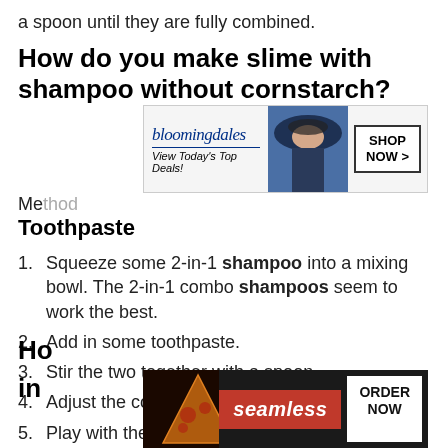a spoon until they are fully combined.
How do you make slime with shampoo without cornstarch?
[Figure (screenshot): Bloomingdale's advertisement banner: logo, 'View Today’s Top Deals!' tagline, woman in hat, 'SHOP NOW >' button]
Me[thod using]
Toothpaste
Squeeze some 2-in-1 shampoo into a mixing bowl. The 2-in-1 combo shampoos seem to work the best.
Add in some toothpaste.
Stir the two together with a spoon.
Adjust the consistency, if needed.
Play with the slime.
[Figure (screenshot): Seamless food delivery advertisement with pizza image, Seamless logo, and ORDER NOW button. Close button visible.]
Ho[w to make slime with shampoo without] in[gredients]